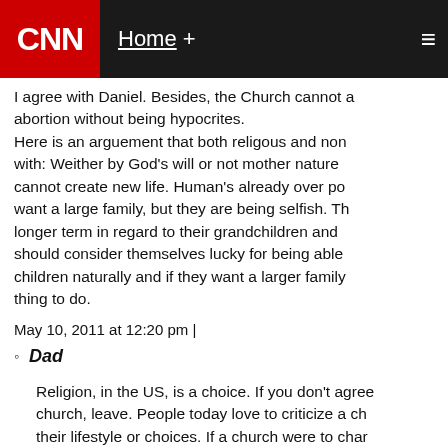CNN | Home +
I agree with Daniel. Besides, the Church cannot a abortion without being hypocrites. Here is an arguement that both religous and non with: Weither by God's will or not mother nature cannot create new life. Human's already over po want a large family, but they are being selfish. Th longer term in regard to their grandchildren and should consider themselves lucky for being able children naturally and if they want a larger family thing to do.
May 10, 2011 at 12:20 pm |
Dad
Religion, in the US, is a choice. If you don't agree church, leave. People love to criticize a ch their lifestyle or choices. If a church were to char didn't like a certain aspect, it would not be a chu Personally, I prefer a church that sticks to its valu